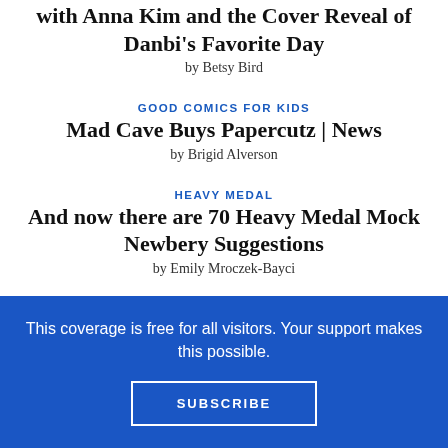with Anna Kim and the Cover Reveal of Danbi's Favorite Day
by Betsy Bird
GOOD COMICS FOR KIDS
Mad Cave Buys Papercutz | News
by Brigid Alverson
HEAVY MEDAL
And now there are 70 Heavy Medal Mock Newbery Suggestions
by Emily Mroczek-Bayci
This coverage is free for all visitors. Your support makes this possible.
SUBSCRIBE